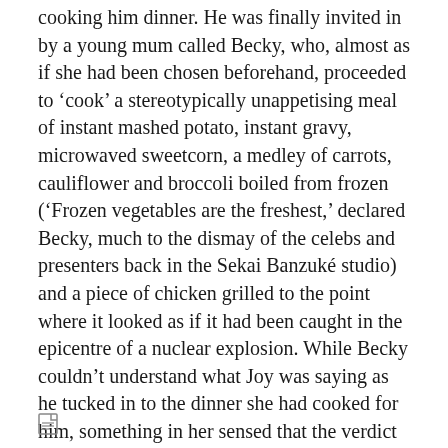cooking him dinner. He was finally invited in by a young mum called Becky, who, almost as if she had been chosen beforehand, proceeded to 'cook' a stereotypically unappetising meal of instant mashed potato, instant gravy, microwaved sweetcorn, a medley of carrots, cauliflower and broccoli boiled from frozen ('Frozen vegetables are the freshest,' declared Becky, much to the dismay of the celebs and presenters back in the Sekai Banzuké studio) and a piece of chicken grilled to the point where it looked as if it had been caught in the epicentre of a nuclear explosion. While Becky couldn't understand what Joy was saying as he tucked in to the dinner she had cooked for him, something in her sensed that the verdict wasn't favourable, and he only managed to avoid being kicked out of the house by breaking into a spontaneous impression of Dobby from the Harry Potter films.
[Figure (other): Small document/page icon at bottom left]